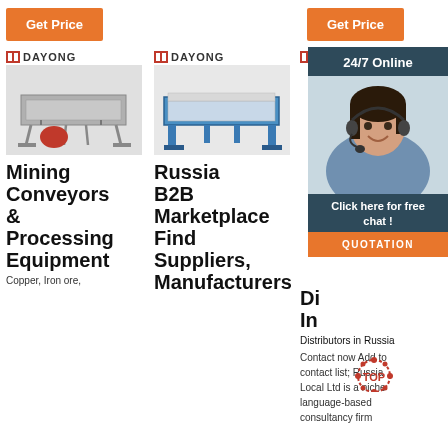[Figure (screenshot): Web page screenshot showing mining equipment products (vibratory screens/conveyors) from DAYONG brand, with a live chat overlay panel featuring a customer service agent photo, '24/7 Online' header, 'Click here for free chat!' text, and a QUOTATION button. Three column layout with orange 'Get Price' buttons at top. Product titles: 'Mining Conveyors & Processing Equipment', 'Russia B2B Marketplace Find Suppliers, Manufacturers', and 'Di... In... Distributors in Russia Contact now Add to contact list; Russia Local Ltd is a niche language-based consultancy firm'. TOP watermark present.]